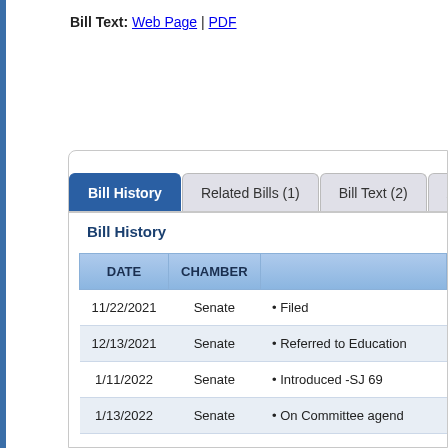Bill Text: Web Page | PDF
[Figure (screenshot): Tab navigation bar showing: Bill History (active, dark blue), Related Bills (1), Bill Text (2), Ame... (partially visible)]
Bill History
| DATE | CHAMBER |  |
| --- | --- | --- |
| 11/22/2021 | Senate | • Filed |
| 12/13/2021 | Senate | • Referred to Education... |
| 1/11/2022 | Senate | • Introduced -SJ 69 |
| 1/13/2022 | Senate | • On Committee agend... |
| 1/20/2022 | Senate | • On Committee agend... |